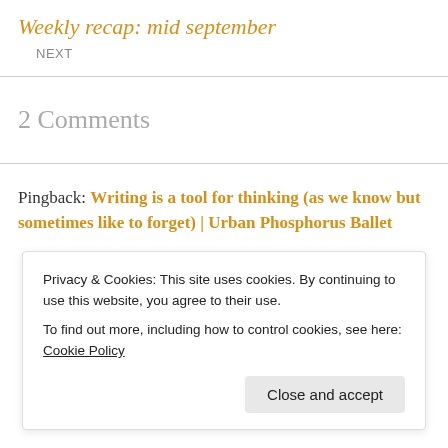Weekly recap: mid september
NEXT
2 Comments
Pingback: Writing is a tool for thinking (as we know but sometimes like to forget) | Urban Phosphorus Ballet
Privacy & Cookies: This site uses cookies. By continuing to use this website, you agree to their use.
To find out more, including how to control cookies, see here: Cookie Policy